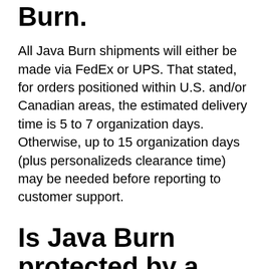Burn.
All Java Burn shipments will either be made via FedEx or UPS. That stated, for orders positioned within U.S. and/or Canadian areas, the estimated delivery time is 5 to 7 organization days. Otherwise, up to 15 organization days (plus personalizeds clearance time) may be needed before reporting to customer support.
Is Java Burn protected by a money-back guarantee?
Yes, all Java Burn purchases have been safeguarded by a 60-day money-back assurance. On the occasion that the enhancement of Java Burn does absolutely